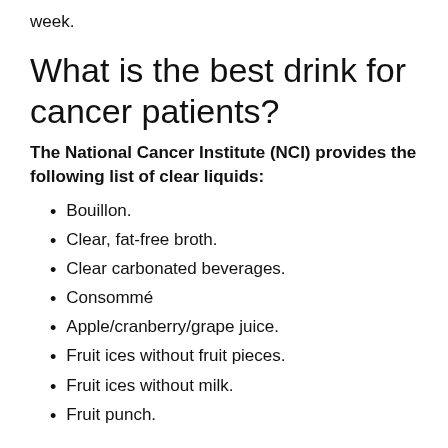week.
What is the best drink for cancer patients?
The National Cancer Institute (NCI) provides the following list of clear liquids:
Bouillon.
Clear, fat-free broth.
Clear carbonated beverages.
Consommé
Apple/cranberry/grape juice.
Fruit ices without fruit pieces.
Fruit ices without milk.
Fruit punch.